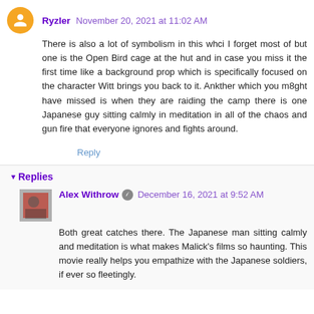Ryzler  November 20, 2021 at 11:02 AM
There is also a lot of symbolism in this whci I forget most of but one is the Open Bird cage at the hut and in case you miss it the first time like a background prop which is specifically focused on the character Witt brings you back to it. Ankther which you m8ght have missed is when they are raiding the camp there is one Japanese guy sitting calmly in meditation in all of the chaos and gun fire that everyone ignores and fights around.
Reply
Replies
Alex Withrow  December 16, 2021 at 9:52 AM
Both great catches there. The Japanese man sitting calmly and meditation is what makes Malick's films so haunting. This movie really helps you empathize with the Japanese soldiers, if ever so fleetingly.